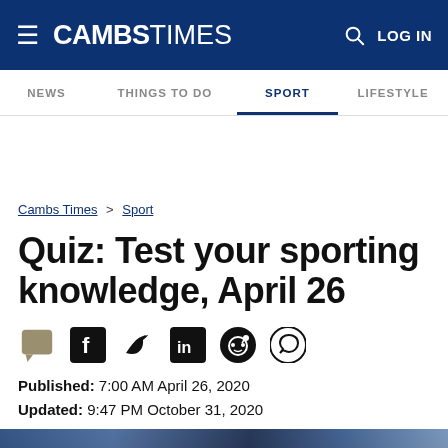CAMBS TIMES | LOG IN
NEWS  THINGS TO DO  SPORT  LIFESTYLE
Cambs Times > Sport
Quiz: Test your sporting knowledge, April 26
Published: 7:00 AM April 26, 2020
Updated: 9:47 PM October 31, 2020
[Figure (photo): Photo of cricket players, partially visible at bottom of page]